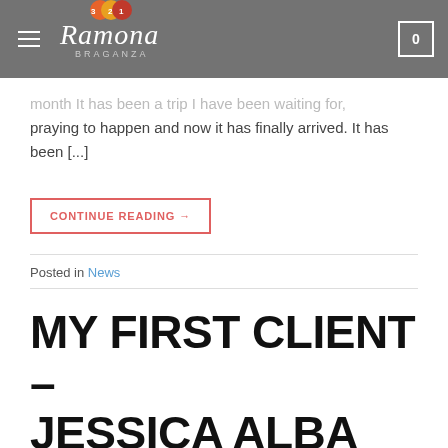Ramona Braganza (321 logo)
month It has been a trip I have been waiting for, praying to happen and now it has finally arrived. It has been [...]
CONTINUE READING →
Posted in News
MY FIRST CLIENT – JESSICA ALBA